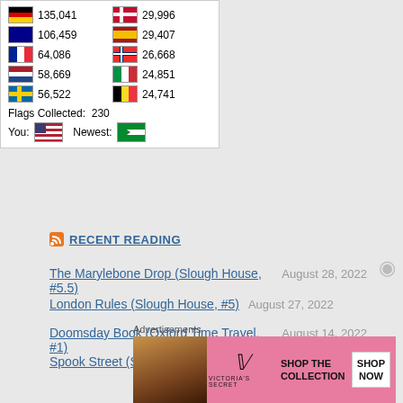| Flag | Count | Flag | Count |
| --- | --- | --- | --- |
| Germany | 135,041 | Denmark | 29,996 |
| Australia | 106,459 | Spain | 29,407 |
| France | 64,086 | Norway | 26,668 |
| Netherlands | 58,669 | Italy | 24,851 |
| Sweden | 56,522 | Belgium | 24,741 |
Flags Collected: 230
You: [US flag]   Newest: [South Sudan flag]
RECENT READING
The Marylebone Drop (Slough House, #5.5)   August 28, 2022
London Rules (Slough House, #5)   August 27, 2022
Doomsday Book (Oxford Time Travel, #1)   August 14, 2022
Spook Street (Slough House, #4)   July 31, 2022
[Figure (photo): Victoria's Secret advertisement banner with model, VS monogram, 'SHOP THE COLLECTION' text, and 'SHOP NOW' button on pink background]